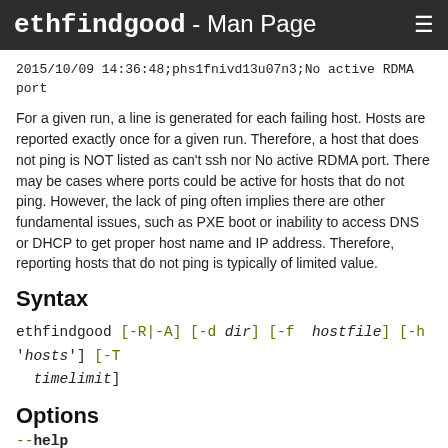ethfindgood - Man Page
2015/10/09 14:36:48;phs1fnivd13u07n3;No active RDMA port
For a given run, a line is generated for each failing host. Hosts are reported exactly once for a given run. Therefore, a host that does not ping is NOT listed as can't ssh nor No active RDMA port. There may be cases where ports could be active for hosts that do not ping. However, the lack of ping often implies there are other fundamental issues, such as PXE boot or inability to access DNS or DHCP to get proper host name and IP address. Therefore, reporting hosts that do not ping is typically of limited value.
Syntax
ethfindgood [-R|-A] [-d dir] [-f hostfile] [-h 'hosts'] [-T timelimit]
Options
--help